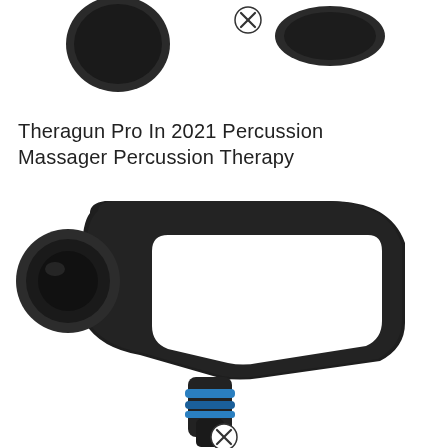[Figure (photo): Two black massage gun attachment heads shown from above on white background. A small circular 'x' close icon appears between them.]
Theragun Pro In 2021 Percussion Massager Percussion Therapy
[Figure (photo): Theragun Pro percussion massager device shown in close-up. The device is matte black with a triangular ergonomic handle, a circular head attachment point with blue accent ring near the bottom nozzle. A small circular 'x' close icon appears at the bottom center.]